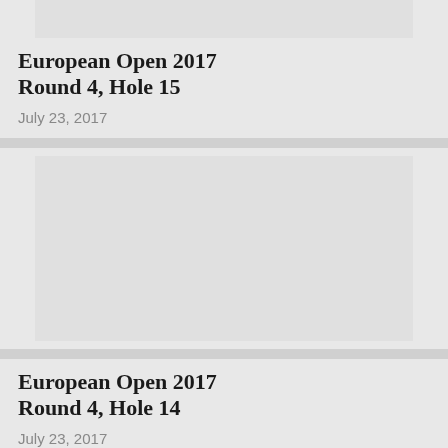[Figure (photo): Partial image at top of page, cropped]
European Open 2017 Round 4, Hole 15
July 23, 2017
[Figure (photo): Golf course image placeholder for European Open 2017 Round 4 Hole 14]
European Open 2017 Round 4, Hole 14
July 23, 2017